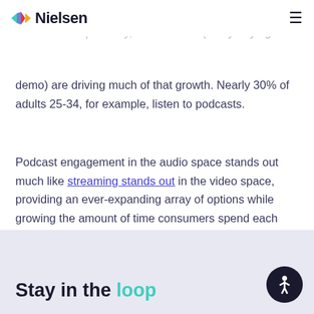Nielsen
since 2014 and is projected to double by 2023. And even more importantly, adults 25-44 (a key buying demo) are driving much of that growth. Nearly 30% of adults 25-34, for example, listen to podcasts.
Podcast engagement in the audio space stands out much like streaming stands out in the video space, providing an ever-expanding array of options while growing the amount of time consumers spend each day with media. The big difference in the podcast space is the engagement with advertising.
Stay in the loop